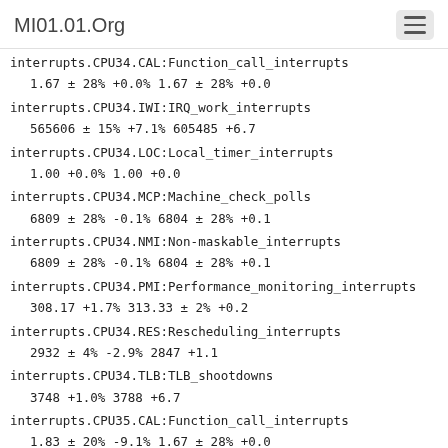MI01.01.Org
interrupts.CPU34.CAL:Function_call_interrupts
1.67 ± 28%    +0.0%    1.67 ± 28%    +0.0
interrupts.CPU34.IWI:IRQ_work_interrupts
565606 ± 15%    +7.1%    605485    +6.7
interrupts.CPU34.LOC:Local_timer_interrupts
1.00    +0.0%    1.00    +0.0
interrupts.CPU34.MCP:Machine_check_polls
6809 ± 28%    -0.1%    6804 ± 28%    +0.1
interrupts.CPU34.NMI:Non-maskable_interrupts
6809 ± 28%    -0.1%    6804 ± 28%    +0.1
interrupts.CPU34.PMI:Performance_monitoring_interrupts
308.17    +1.7%    313.33 ±  2%    +0.2
interrupts.CPU34.RES:Rescheduling_interrupts
2932 ±  4%    -2.9%    2847    +1.1
interrupts.CPU34.TLB:TLB_shootdowns
3748    +1.0%    3788    +6.7
interrupts.CPU35.CAL:Function_call_interrupts
1.83 ± 20%    -9.1%    1.67 ± 28%    +0.0
interrupts.CPU35.IWI:IRQ_work_interrupts
565179 ± 15%    +7.1%    605488    +6.8